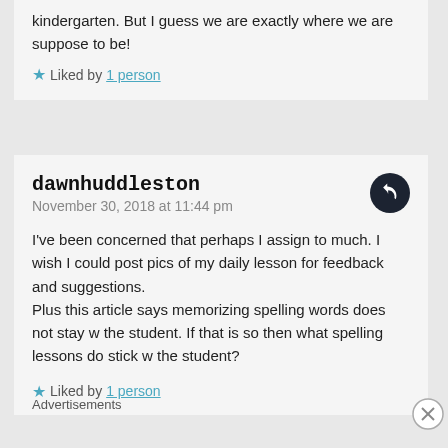kindergarten. But I guess we are exactly where we are suppose to be!
Liked by 1 person
dawnhuddleston
November 30, 2018 at 11:44 pm
I've been concerned that perhaps I assign to much. I wish I could post pics of my daily lesson for feedback and suggestions.
Plus this article says memorizing spelling words does not stay w the student. If that is so then what spelling lessons do stick w the student?
Liked by 1 person
Advertisements